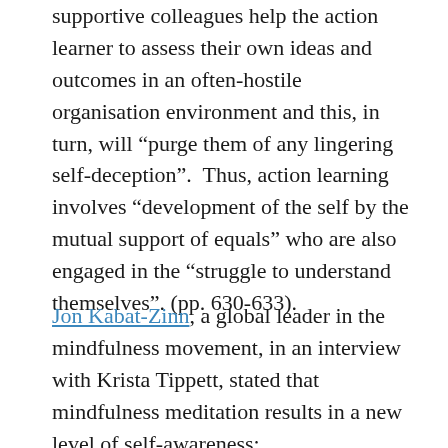supportive colleagues help the action learner to assess their own ideas and outcomes in an often-hostile organisation environment and this, in turn, will “purge them of any lingering self-deception”.  Thus, action learning involves “development of the self by the mutual support of equals” who are also engaged in the “struggle to understand themselves”. (pp. 630-633).
Jon Kabat-Zinn, a global leader in the mindfulness movement, in an interview with Krista Tippett, stated that mindfulness meditation results in a new level of self-awareness:
you change your relationship to who you